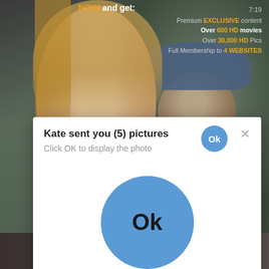[Figure (screenshot): Background showing two people blurred, promotional content overlay with text about premium membership]
NOW and get:
7:19
Premium EXCLUSIVE content
Over 600 HD movies
Over 30,000 HD Pics
Full Membership to 4 WEBSITES
And much MORE...
Kate sent you (5) pictures
Click OK to display the photo
Ok
Ok
2sd